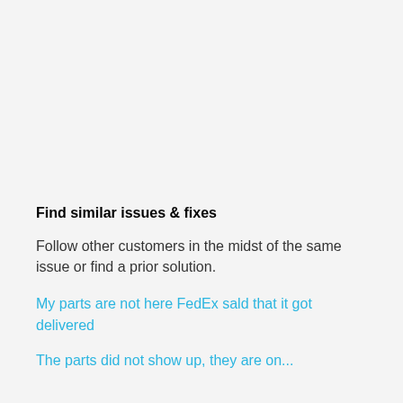Find similar issues & fixes
Follow other customers in the midst of the same issue or find a prior solution.
My parts are not here FedEx sald that it got delivered
The parts did not show up, they are on...